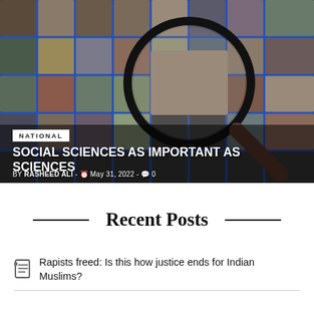[Figure (photo): Collage of diverse human faces arranged in a grid pattern with blue grid lines, with a large magnifying glass overlay in the center highlighting a smiling man.]
NATIONAL
SOCIAL SCIENCES AS IMPORTANT AS SCIENCES
BY RASHEED ALI - May 31, 2022 - 0
Recent Posts
Rapists freed: Is this how justice ends for Indian Muslims?